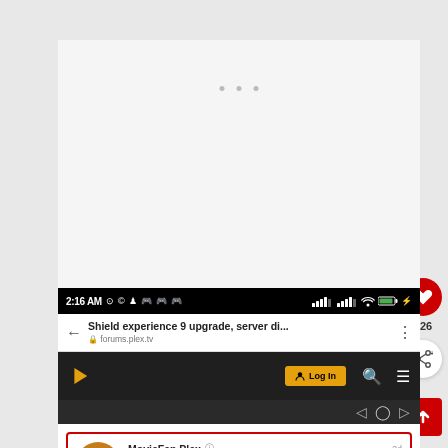[Figure (screenshot): Mobile screenshot showing Plex forum page. Status bar showing 2:16 AM. Browser showing 'Shield experience 9 upgrade, server di...' from forums.plex.tv. Plex navigation bar with Log In button. Post card from MovieFan.Plex (Plex Employee) with text 'We are looking into this. Can those of you affected'. Side buttons showing heart (126 likes) and share button. Red up-arrow button at bottom right.]